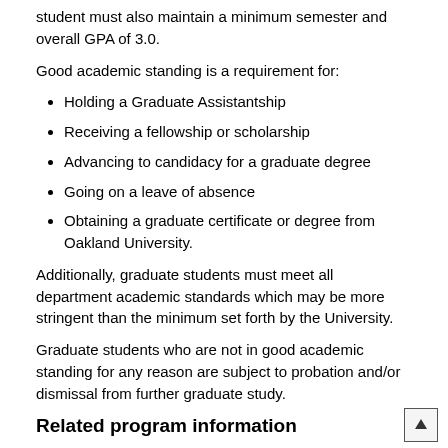student must also maintain a minimum semester and overall GPA of 3.0.
Good academic standing is a requirement for:
Holding a Graduate Assistantship
Receiving a fellowship or scholarship
Advancing to candidacy for a graduate degree
Going on a leave of absence
Obtaining a graduate certificate or degree from Oakland University.
Additionally, graduate students must meet all department academic standards which may be more stringent than the minimum set forth by the University.
Graduate students who are not in good academic standing for any reason are subject to probation and/or dismissal from further graduate study.
Related program information